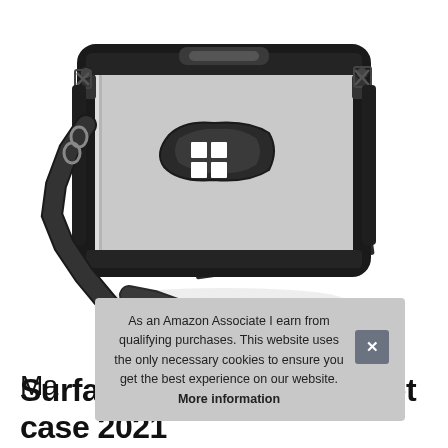[Figure (photo): A Microsoft Surface tablet in a black rugged protective case with shoulder strap/lanyard attached, shown from the back at an angle. The case has handles and clip attachments. The Microsoft Windows logo is visible on the back of the silver tablet. A black carrying strap hangs in the foreground.]
As an Amazon Associate I earn from qualifying purchases. This website uses the only necessary cookies to ensure you get the best experience on our website. More information
Ma
Surface rugged case tablet case 2021